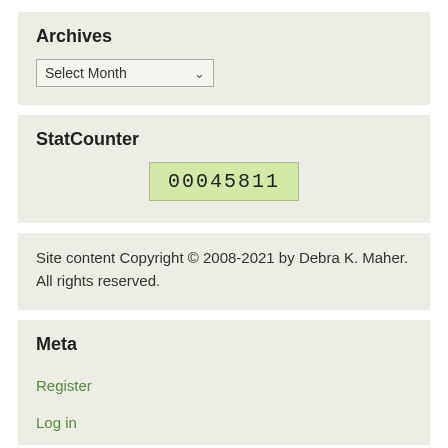Archives
Select Month
StatCounter
00045811
Site content Copyright © 2008-2021 by Debra K. Maher. All rights reserved.
Meta
Register
Log in